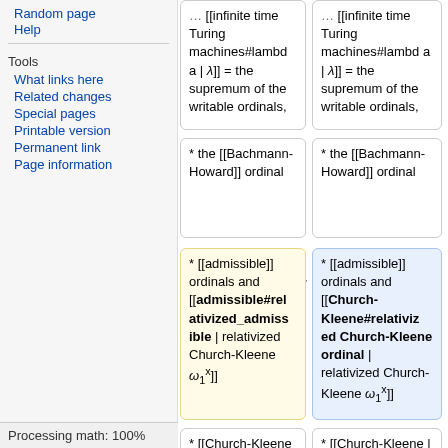Random page
Help
Tools
What links here
Related changes
Special pages
Printable version
Permanent link
Page information
… [[Infinite time Turing machines#lambda | λ]] = the supremum of the writable ordinals,
… [[Infinite time Turing machines#lambda | λ]] = the supremum of the writable ordinals,
* the [[Bachmann-Howard]] ordinal
* the [[Bachmann-Howard]] ordinal
* [[admissible]] ordinals and [[admissible#relativized_admissible | relativized Church-Kleene ω₁ˣ]]
* [[admissible]] ordinals and [[Church-Kleene#relativized ed Church-Kleene ordinal | relativized Church-Kleene ω₁ˣ]]
* [[Church-Kleene omega_1
* [[Church-Kleene | Church-
Processing math: 100%